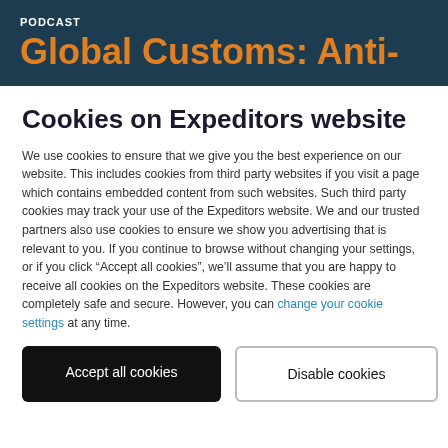PODCAST
Global Customs: Anti-
Cookies on Expeditors website
We use cookies to ensure that we give you the best experience on our website. This includes cookies from third party websites if you visit a page which contains embedded content from such websites. Such third party cookies may track your use of the Expeditors website. We and our trusted partners also use cookies to ensure we show you advertising that is relevant to you. If you continue to browse without changing your settings, or if you click “Accept all cookies”, we’ll assume that you are happy to receive all cookies on the Expeditors website. These cookies are completely safe and secure. However, you can change your cookie settings at any time.
Accept all cookies
Disable cookies